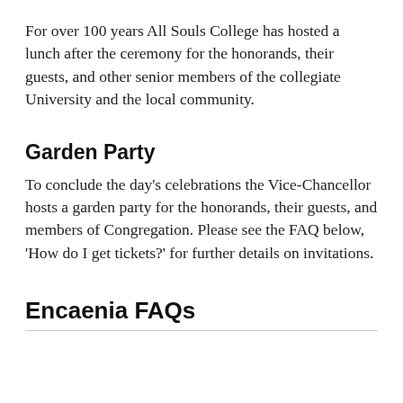For over 100 years All Souls College has hosted a lunch after the ceremony for the honorands, their guests, and other senior members of the collegiate University and the local community.
Garden Party
To conclude the day's celebrations the Vice-Chancellor hosts a garden party for the honorands, their guests, and members of Congregation. Please see the FAQ below, 'How do I get tickets?' for further details on invitations.
Encaenia FAQs